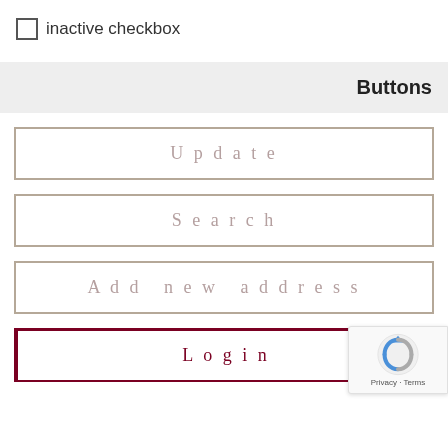inactive checkbox
Buttons
[Figure (other): Button labeled 'Update' with gray border outline]
[Figure (other): Button labeled 'Search' with gray border outline]
[Figure (other): Button labeled 'Add new address' with gray border outline]
[Figure (other): Button labeled 'Login' with dark red/maroon border outline]
[Figure (other): reCAPTCHA Privacy - Terms badge overlay]